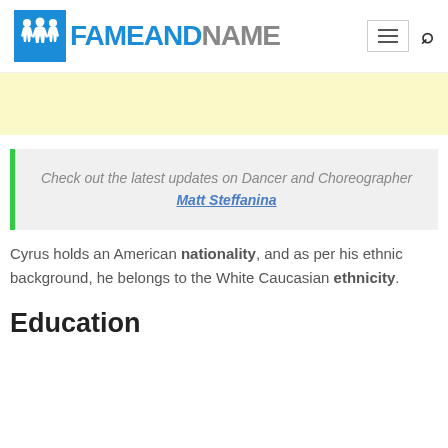FAMEANDNAME
[Figure (screenshot): Yellow advertisement banner placeholder]
Check out the latest updates on Dancer and Choreographer Matt Steffanina
Cyrus holds an American nationality, and as per his ethnic background, he belongs to the White Caucasian ethnicity.
Education